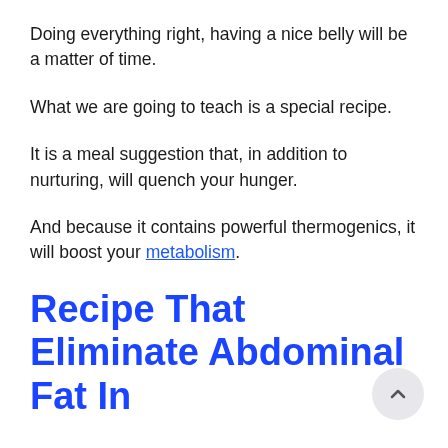Doing everything right, having a nice belly will be a matter of time.
What we are going to teach is a special recipe.
It is a meal suggestion that, in addition to nurturing, will quench your hunger.
And because it contains powerful thermogenics, it will boost your metabolism.
Recipe That Eliminate Abdominal Fat In